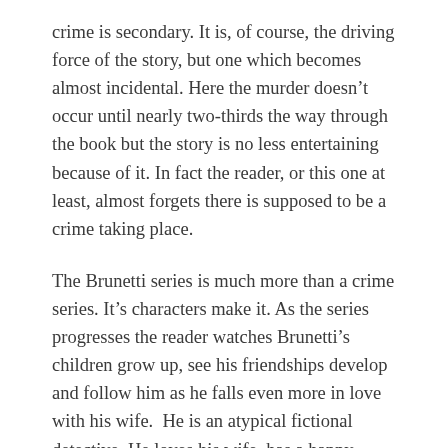crime is secondary. It is, of course, the driving force of the story, but one which becomes almost incidental. Here the murder doesn't occur until nearly two-thirds the way through the book but the story is no less entertaining because of it. In fact the reader, or this one at least, almost forgets there is supposed to be a crime taking place.
The Brunetti series is much more than a crime series. It's characters make it. As the series progresses the reader watches Brunetti's children grow up, see his friendships develop and follow him as he falls even more in love with his wife.  He is an atypical fictional detective. He loves his wife, has a happy home. He's not a seasoned drinker, except of course for the odd glass of grappa or wine with dinner. He is passionate about